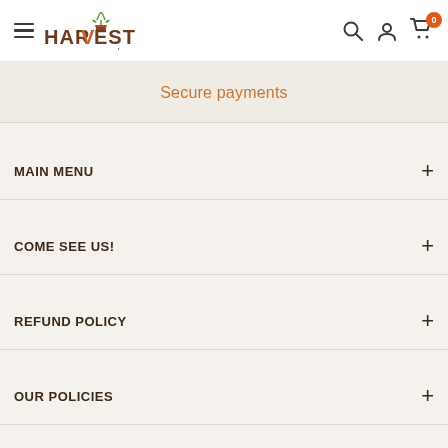HARVEST grow supply — navigation header with search, account, and cart icons
Secure payments
MAIN MENU
COME SEE US!
REFUND POLICY
OUR POLICIES